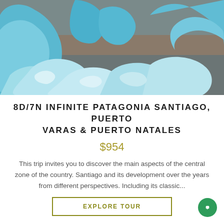[Figure (photo): Photograph of blue glacial ice chunks/icebergs floating in grey water in Patagonia]
8D/7N INFINITE PATAGONIA SANTIAGO, PUERTO VARAS & PUERTO NATALES
$954
This trip invites you to discover the main aspects of the central zone of the country. Santiago and its development over the years from different perspectives. Including its classic...
EXPLORE TOUR